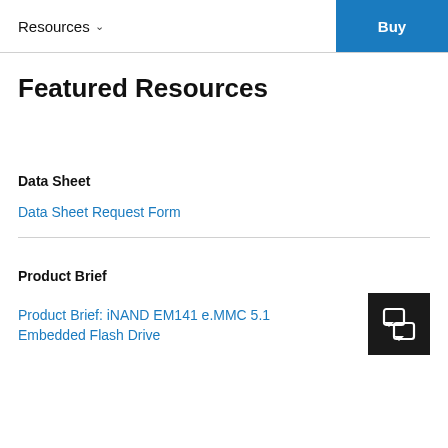Resources  Buy
Featured Resources
Data Sheet
Data Sheet Request Form
Product Brief
Product Brief: iNAND EM141 e.MMC 5.1 Embedded Flash Drive